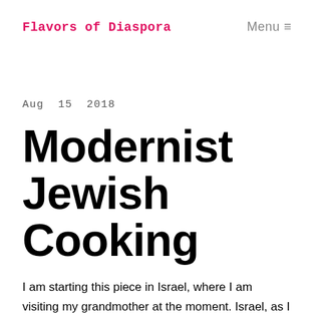Flavors of Diaspora
Menu ≡
Aug 15 2018
Modernist Jewish Cooking
I am starting this piece in Israel, where I am visiting my grandmother at the moment. Israel, as I have written before, is a really weird place in terms of food. There is